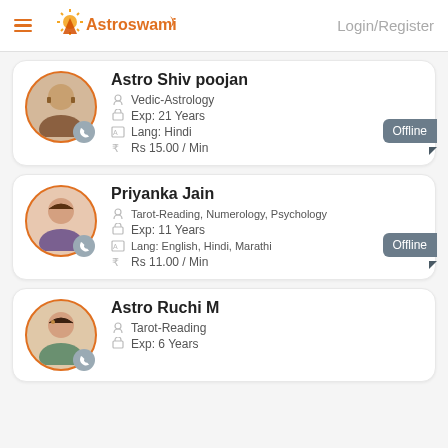Login/Register
[Figure (logo): Astroswami logo with sun and crescent moon icon]
Astro Shiv poojan
Vedic-Astrology
Exp: 21 Years
Lang: Hindi
Rs 15.00 / Min
Offline
Priyanka Jain
Tarot-Reading, Numerology, Psychology
Exp: 11 Years
Lang: English, Hindi, Marathi
Rs 11.00 / Min
Offline
Astro Ruchi M
Tarot-Reading
Exp: 6 Years